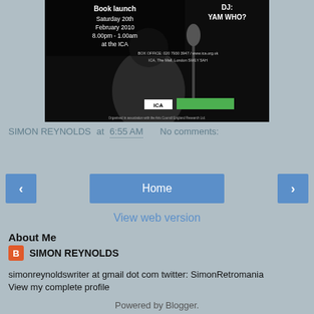[Figure (photo): Black and white event poster/photo for a book launch at the ICA, Saturday 20th February 2010, 8:00pm - 1:00am. DJ: YAM WHO? Box office: 020 7930 3647 / www.ica.org.uk ICA, The Mall, London SW1Y 5AH. Shows a person at a microphone in black and white with ICA branding and green logo.]
SIMON REYNOLDS at 6:55 AM    No comments:
Home
View web version
About Me
SIMON REYNOLDS
simonreynoldswriter at gmail dot com twitter: SimonRetromania
View my complete profile
Powered by Blogger.